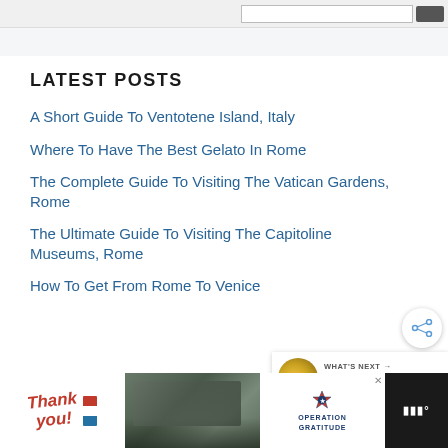LATEST POSTS
A Short Guide To Ventotene Island, Italy
Where To Have The Best Gelato In Rome
The Complete Guide To Visiting The Vatican Gardens, Rome
The Ultimate Guide To Visiting The Capitoline Museums, Rome
How To Get From Rome To Venice
[Figure (other): Advertisement banner for Operation Gratitude with thank you text, soldiers photo, and Operation Gratitude logo]
[Figure (other): Share button (social sharing icon)]
[Figure (other): What's Next widget showing thumbnail and text: Where To Have The Be...]